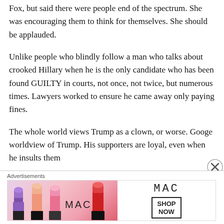Fox, but said there were people end of the spectrum. She was encouraging them to think for themselves. She should be applauded.
Unlike people who blindly follow a man who talks about crooked Hillary when he is the only candidate who has been found GUILTY in courts, not once, not twice, but numerous times. Lawyers worked to ensure he came away only paying fines.
The whole world views Trump as a clown, or worse. Googe worldview of Trump. His supporters are loyal, even when he insults them
Advertisements
[Figure (photo): MAC cosmetics advertisement showing lipsticks in purple, peach, and pink colors with MAC logo and SHOP NOW button]